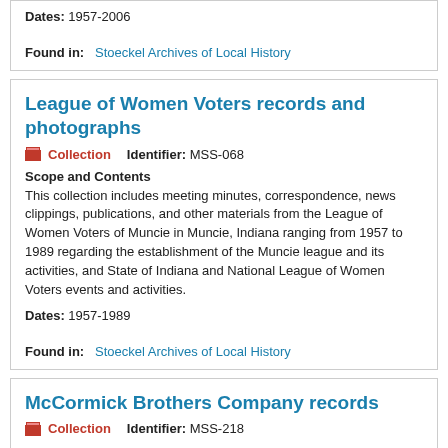Dates: 1957-2006
Found in: Stoeckel Archives of Local History
League of Women Voters records and photographs
Collection   Identifier: MSS-068
Scope and Contents
This collection includes meeting minutes, correspondence, news clippings, publications, and other materials from the League of Women Voters of Muncie in Muncie, Indiana ranging from 1957 to 1989 regarding the establishment of the Muncie league and its activities, and State of Indiana and National League of Women Voters events and activities.
Dates: 1957-1989
Found in: Stoeckel Archives of Local History
McCormick Brothers Company records
Collection   Identifier: MSS-218